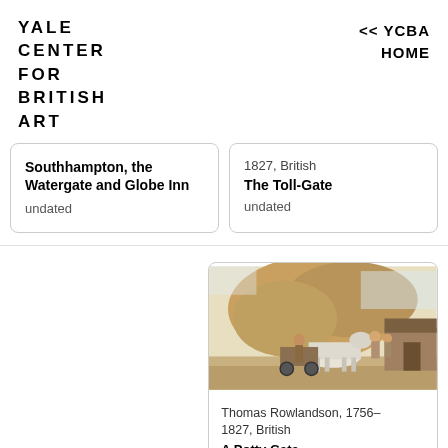YALE CENTER FOR BRITISH ART
<< YCBA HOME
Southhampton, the Watergate and Globe Inn
undated
1827, British
The Toll-Gate
undated
[Figure (illustration): A watercolor illustration showing figures with a horse-drawn cart near a rocky outcrop and a small building. Two or three figures stand beside a white horse pulling a cart. The scene appears to be outdoors with warm earthy tones.]
Thomas Rowlandson, 1756–1827, British
A Potty Gate...